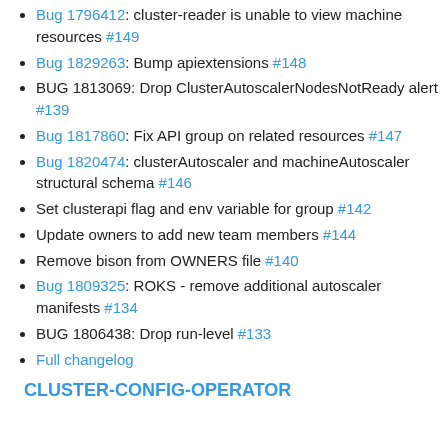Bug 1796412: cluster-reader is unable to view machine resources #149
Bug 1829263: Bump apiextensions #148
BUG 1813069: Drop ClusterAutoscalerNodesNotReady alert #139
Bug 1817860: Fix API group on related resources #147
Bug 1820474: clusterAutoscaler and machineAutoscaler structural schema #146
Set clusterapi flag and env variable for group #142
Update owners to add new team members #144
Remove bison from OWNERS file #140
Bug 1809325: ROKS - remove additional autoscaler manifests #134
BUG 1806438: Drop run-level #133
Full changelog
CLUSTER-CONFIG-OPERATOR